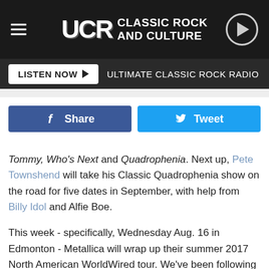UCR Classic Rock and Culture
LISTEN NOW   ULTIMATE CLASSIC ROCK RADIO
Share   Tweet
Tommy, Who's Next and Quadrophenia. Next up, Pete Townshend will take his Classic Quadrophenia show on the road for five dates in September, with help from Billy Idol and Alfie Boe.
This week - specifically, Wednesday Aug. 16 in Edmonton - Metallica will wrap up their summer 2017 North American WorldWired tour. We've been following each and every concert; you can look back at all the big moments and song debuts on our Set List Tracker page.